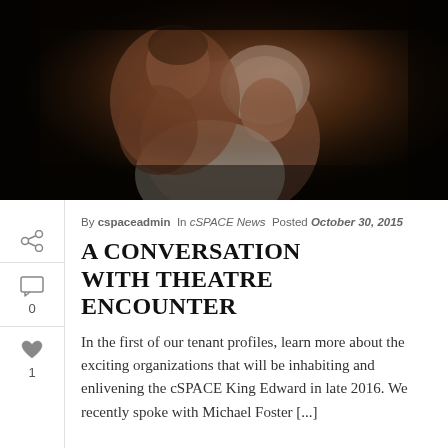[Figure (photo): Two performers in a dramatic theatrical scene: a shirtless male performer with short hair grabbing the neck/throat of a female performer with white head covering, both in dramatic lighting against dark background]
By cspaceadmin In cSPACE News Posted October 30, 2015
A CONVERSATION WITH THEATRE ENCOUNTER
In the first of our tenant profiles, learn more about the exciting organizations that will be inhabiting and enlivening the cSPACE King Edward in late 2016. We recently spoke with Michael Foster [...]